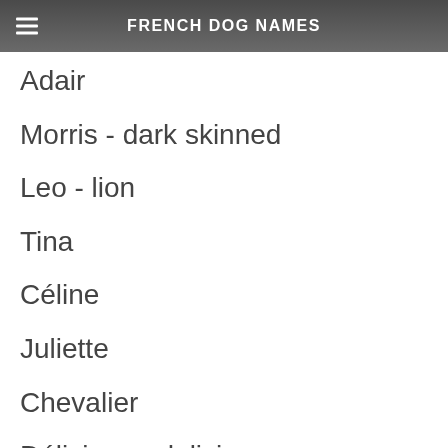FRENCH DOG NAMES
Adair
Morris - dark skinned
Leo - lion
Tina
Céline
Juliette
Chevalier
Délicieux - delicious
Alison
Monique